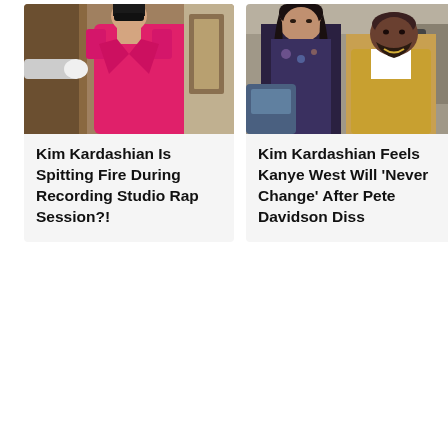[Figure (photo): Woman wearing large sunglasses and a bright pink/magenta blazer, standing in front of a building entrance, being held open by a doorman in white gloves.]
Kim Kardashian Is Spitting Fire During Recording Studio Rap Session?!
[Figure (photo): Kim Kardashian and Kanye West walking together outdoors on a city street, with paparazzi cameras visible in the background.]
Kim Kardashian Feels Kanye West Will ‘Never Change’ After Pete Davidson Diss